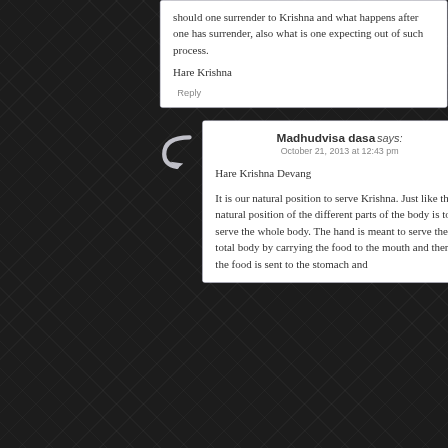should one surrender to Krishna and what happens after one has surrender, also what is one expecting out of such process.
Hare Krishna
Reply
Madhudvisa dasa says:
October 21, 2013 at 12:43 pm
Hare Krishna Devang
It is our natural position to serve Krishna. Just like the natural position of the different parts of the body is to serve the whole body. The hand is meant to serve the total body by carrying the food to the mouth and then the food is sent to the stomach and